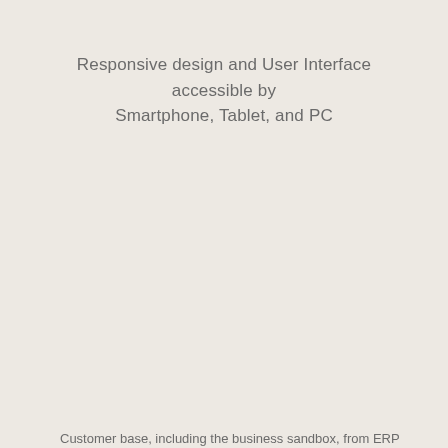Responsive design and User Interface accessible by Smartphone, Tablet, and PC
Customer base, including the business sandbox, from ERP